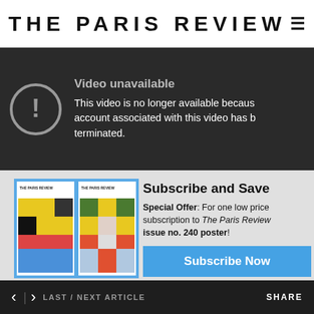THE PARIS REVIEW
[Figure (screenshot): YouTube video unavailable error screen: circle with exclamation mark icon, text 'Video unavailable' and 'This video is no longer available because the account associated with this video has been terminated.']
[Figure (photo): Two Paris Review magazine covers side by side, both featuring colorful grid/block patterns on their covers, on a blue background]
Subscribe and Save
Special Offer: For one low price, subscription to The Paris Review, issue no. 240 poster!
Subscribe Now
You'd be forgiven for thinking I've lately fallen down some peculiar Bloomsbury Group rabbit hole. And you wouldn't be wrong. While I was in London last month
< > LAST / NEXT ARTICLE    SHARE